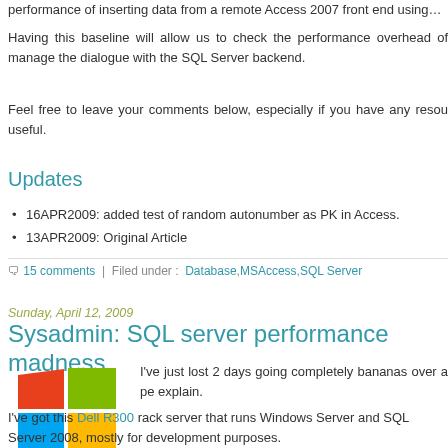performance of inserting data from a remote Access 2007 front end using…
Having this baseline will allow us to check the performance overhead of… manage the dialogue with the SQL Server backend.
Feel free to leave your comments below, especially if you have any resou… useful.
Updates
16APR2009: added test of random autonumber as PK in Access.
13APR2009: Original Article
15 comments   |   Filed under :  Database,MSAccess,SQL Server
Sunday, April 12, 2009
Sysadmin: SQL server performance madness
[Figure (logo): Windows logo - colorful four-pane window icon]
I've just lost 2 days going completely bananas over a pe… explain.
I've got this Dell R300 rack server that runs Windows Server and SQL Server 2008, mostly for development purposes.